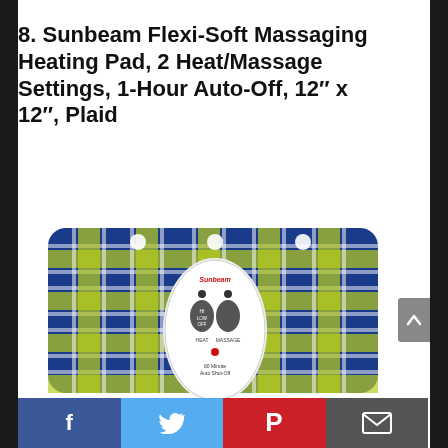8. Sunbeam Flexi-Soft Massaging Heating Pad, 2 Heat/Massage Settings, 1-Hour Auto-Off, 12″ x 12″, Plaid
[Figure (photo): Photo of a Sunbeam Flexi-Soft Massaging Heating Pad with blue, green, and white plaid fabric, featuring an attached white oval controller/remote with buttons and controls.]
[Figure (other): Social media sharing bar at the bottom with four buttons: Facebook (blue), Twitter (light blue), Pinterest (red), and Email (dark gray).]